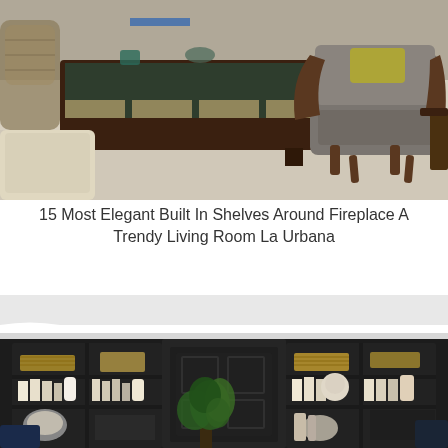[Figure (photo): Interior living room scene with a modern dark wood coffee table with glass top and illuminated panels, a grey upholstered accent chair with curved wooden legs, a beige ottoman, and woven chairs on a light carpet.]
15 Most Elegant Built In Shelves Around Fireplace A Trendy Living Room La Urbana
[Figure (photo): Built-in shelves around a fireplace painted in matte black with white crown molding. Shelves display decorative objects, books, vases, baskets, and a green potted plant on the floor.]